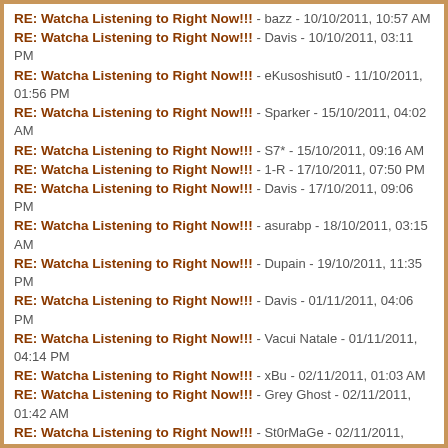RE: Watcha Listening to Right Now!!! - bazz - 10/10/2011, 10:57 AM
RE: Watcha Listening to Right Now!!! - Davis - 10/10/2011, 03:11 PM
RE: Watcha Listening to Right Now!!! - eKusoshisut0 - 11/10/2011, 01:56 PM
RE: Watcha Listening to Right Now!!! - Sparker - 15/10/2011, 04:02 AM
RE: Watcha Listening to Right Now!!! - S7* - 15/10/2011, 09:16 AM
RE: Watcha Listening to Right Now!!! - 1-R - 17/10/2011, 07:50 PM
RE: Watcha Listening to Right Now!!! - Davis - 17/10/2011, 09:06 PM
RE: Watcha Listening to Right Now!!! - asurabp - 18/10/2011, 03:15 AM
RE: Watcha Listening to Right Now!!! - Dupain - 19/10/2011, 11:35 PM
RE: Watcha Listening to Right Now!!! - Davis - 01/11/2011, 04:06 PM
RE: Watcha Listening to Right Now!!! - Vacui Natale - 01/11/2011, 04:14 PM
RE: Watcha Listening to Right Now!!! - xBu - 02/11/2011, 01:03 AM
RE: Watcha Listening to Right Now!!! - Grey Ghost - 02/11/2011, 01:42 AM
RE: Watcha Listening to Right Now!!! - St0rMaGe - 02/11/2011, 03:57 AM
RE: Watcha Listening to Right Now!!! - Funky Buddah - 02/11/2011, 04:25 AM
RE: Watcha Listening to Right Now!!! - Vacui Natale - 02/11/2011, 04:30 AM
RE: Watcha Listening to Right Now!!! - Funky Buddah - 02/11/2011, 04:33 AM
RE: Watcha Listening to Right Now!!!! - asurabo - 02/11/2011, 09:31 AM